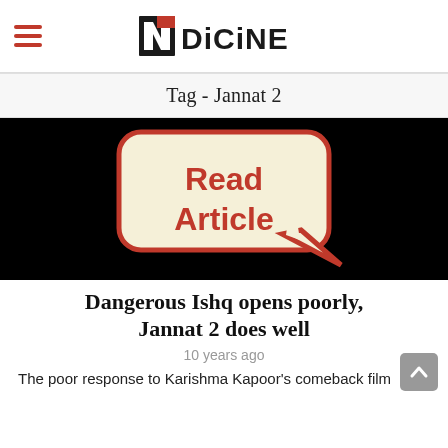INDICINE
Tag - Jannat 2
[Figure (illustration): Black background with a speech bubble / rounded rectangle shape in cream/beige color with a coral/red border, containing bold red-orange text reading 'Read Article'. The speech bubble has a tail pointing to the lower right.]
Dangerous Ishq opens poorly, Jannat 2 does well
10 years ago
The poor response to Karishma Kapoor's comeback film